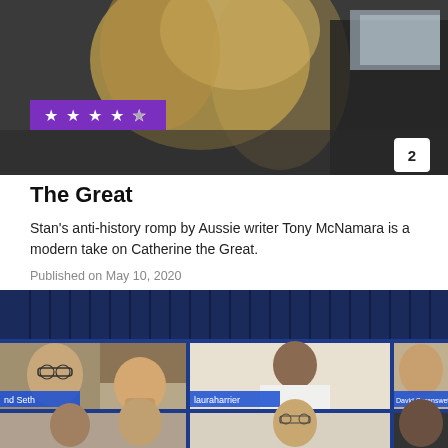[Figure (photo): Top portion of a person with blonde hair against a dark background, with a purple star rating badge (4 out of 5 stars) and a white chat badge with number 2]
The Great
Stan's anti-history romp by Aussie writer Tony McNamara is a modern take on Catherine the Great.
Published on May 10, 2020
[Figure (photo): Video call grid showing multiple people. Top row: two men in a bookshelf-background room (labeled 'nd Seth'), a woman in white off-shoulder dress (labeled 'lauraharrier'), a smiling man (labeled 'David Corenswet'). Bottom row: two young men in different rooms, and a Black man.]